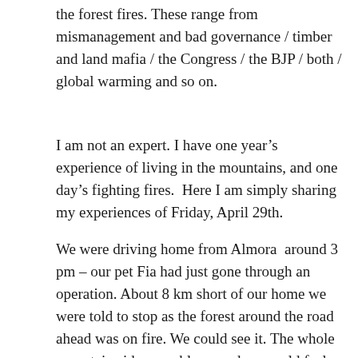the forest fires. These range from mismanagement and bad governance / timber and land mafia / the Congress / the BJP / both / global warming and so on.
I am not an expert. I have one year's experience of living in the mountains, and one day's fighting fires.  Here I am simply sharing my experiences of Friday, April 29th.
We were driving home from Almora  around 3 pm – our pet Fia had just gone through an operation. About 8 km short of our home we were told to stop as the forest around the road ahead was on fire. We could see it. The whole mountain side was ablaze, and we could feel the heat 20 metres away. We drove after 10 minutes through what looked like a Vietnam Napalm bombing zone – burning trees on